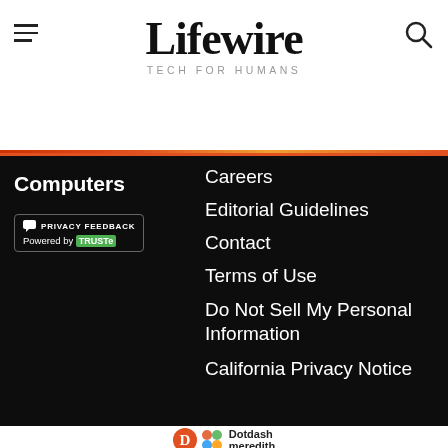Lifewire TECH FOR HUMANS
Computers
[Figure (other): Privacy Feedback badge powered by TRUSTe]
Careers
Editorial Guidelines
Contact
Terms of Use
Do Not Sell My Personal Information
California Privacy Notice
[Figure (logo): Dotdash Meredith logo]
Lifewire is part of the Dotdash Meredith publishing family.
Ad
[Figure (other): Dotdash Meredith advertisement banner: We help people find answers, solve problems and get inspired.]